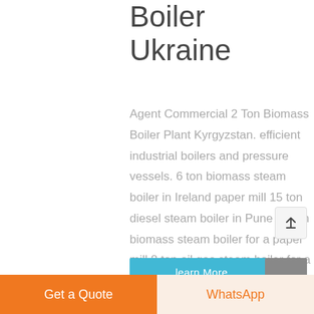Boiler Ukraine
Agent Commercial 2 Ton Biomass Boiler Plant Kyrgyzstan. efficient industrial boilers and pressure vessels. 6 ton biomass steam boiler in Ireland paper mill 15 ton diesel steam boiler in Pune 15 ton biomass steam boiler for a paper mill 8 ton oil gas steam boiler for a ...
learn More
Get a Quote
WhatsApp